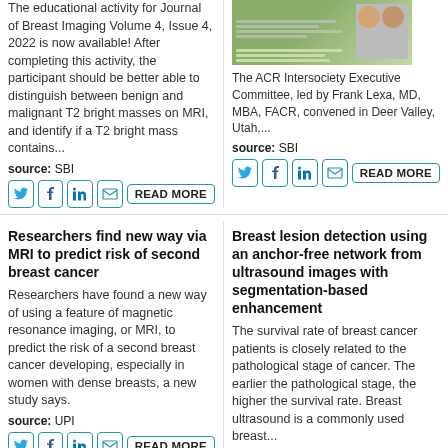The educational activity for Journal of Breast Imaging Volume 4, Issue 4, 2022 is now available! After completing this activity, the participant should be better able to distinguish between benign and malignant T2 bright masses on MRI, and identify if a T2 bright mass contains...
source: SBI
[Figure (photo): Conference promotional image with two presenters and document pages]
The ACR Intersociety Executive Committee, led by Frank Lexa, MD, MBA, FACR, convened in Deer Valley, Utah,...
source: SBI
Researchers find new way via MRI to predict risk of second breast cancer
Researchers have found a new way of using a feature of magnetic resonance imaging, or MRI, to predict the risk of a second breast cancer developing, especially in women with dense breasts, a new study says.
source: UPI
Breast lesion detection using an anchor-free network from ultrasound images with segmentation-based enhancement
The survival rate of breast cancer patients is closely related to the pathological stage of cancer. The earlier the pathological stage, the higher the survival rate. Breast ultrasound is a commonly used breast...
source: Nature